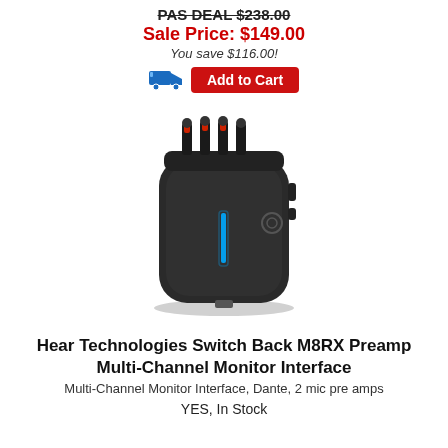PAS DEAL $238.00
Sale Price: $149.00
You save $116.00!
[Figure (photo): Hear Technologies Switch Back M8RX device — a small black rounded rectangular audio interface box with four knob/connector plugs on top and a blue LED light on the front face.]
Hear Technologies Switch Back M8RX Preamp Multi-Channel Monitor Interface
Multi-Channel Monitor Interface, Dante, 2 mic pre amps
YES, In Stock